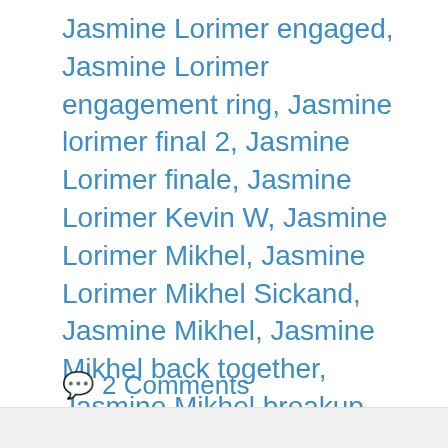Jasmine Lorimer engaged, Jasmine Lorimer engagement ring, Jasmine lorimer final 2, Jasmine Lorimer finale, Jasmine Lorimer Kevin W, Jasmine Lorimer Mikhel, Jasmine Lorimer Mikhel Sickand, Jasmine Mikhel, Jasmine Mikhel back together, Jasmine Mikhel breakup, Kevin Wendt, Mikhel Bachelorette, Mikhel Sickand, Mikhel Sickand Bachelor, Mikhel Sickand Bachelor Canada, Mikhel Sickand engaged, Mikhel Sickand finale, Mikhel Sickand wins
2 Comments